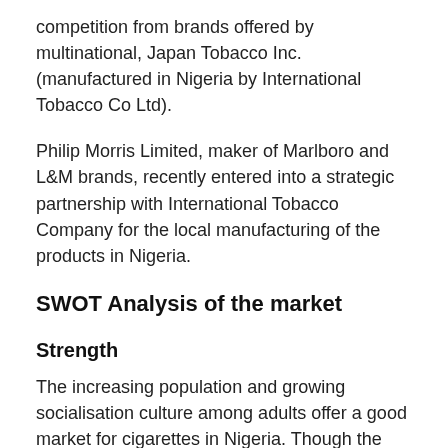competition from brands offered by multinational, Japan Tobacco Inc. (manufactured in Nigeria by International Tobacco Co Ltd).
Philip Morris Limited, maker of Marlboro and L&M brands, recently entered into a strategic partnership with International Tobacco Company for the local manufacturing of the products in Nigeria.
SWOT Analysis of the market
Strength
The increasing population and growing socialisation culture among adults offer a good market for cigarettes in Nigeria. Though the industry is highly regulated – the National Tobacco Control Act 2015 was signed into law by the last administration in